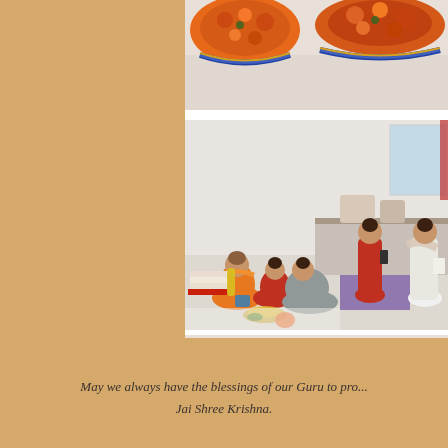[Figure (photo): Top photo showing colorful traditional Indian textile/clothing with orange, red, blue embroidered patterns (lehengas or similar garments) displayed on a white surface]
[Figure (photo): Bottom photo showing a Hindu puja ceremony with a priest in orange robes and several women in traditional Indian attire (saris) seated on the floor performing rituals, with books and puja items visible. Two women stand in the background.]
May we always have the blessings of our Guru to pro...
Jai Shree Krishna.